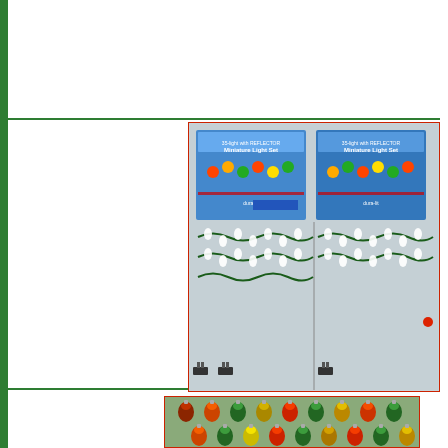[Figure (photo): Two boxes of miniature light sets (35-light REFLECTOR Miniature Light Sets) displayed with the string lights laid out in front, showing green wire with white/colored bulbs]
[Figure (photo): Close-up of colorful miniature reflector light bulbs in red, orange, yellow, green and white arranged in rows on a gray surface]